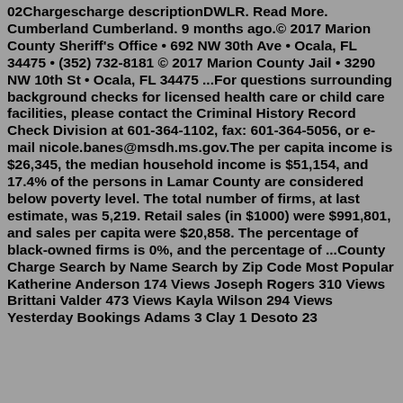02Chargescharge descriptionDWLR. Read More. Cumberland Cumberland. 9 months ago.© 2017 Marion County Sheriff's Office • 692 NW 30th Ave • Ocala, FL 34475 • (352) 732-8181 © 2017 Marion County Jail • 3290 NW 10th St • Ocala, FL 34475 ...For questions surrounding background checks for licensed health care or child care facilities, please contact the Criminal History Record Check Division at 601-364-1102, fax: 601-364-5056, or e-mail nicole.banes@msdh.ms.gov.The per capita income is $26,345, the median household income is $51,154, and 17.4% of the persons in Lamar County are considered below poverty level. The total number of firms, at last estimate, was 5,219. Retail sales (in $1000) were $991,801, and sales per capita were $20,858. The percentage of black-owned firms is 0%, and the percentage of ...County Charge Search by Name Search by Zip Code Most Popular Katherine Anderson 174 Views Joseph Rogers 310 Views Brittani Valder 473 Views Kayla Wilson 294 Views Yesterday Bookings Adams 3 Clay 1 Desoto 23